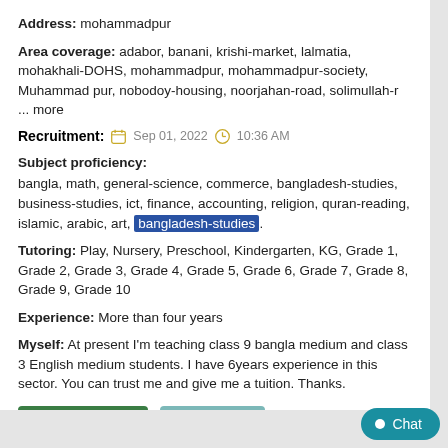Address: mohammadpur
Area coverage: adabor, banani, krishi-market, lalmatia, mohakhali-DOHS, mohammadpur, mohammadpur-society, Muhammad pur, nobodoy-housing, noorjahan-road, solimullah-r ... more
Recruitment: Sep 01, 2022 10:36 AM
Subject proficiency:
bangla, math, general-science, commerce, bangladesh-studies, business-studies, ict, finance, accounting, religion, quran-reading, islamic, arabic, art, bangladesh-studies.
Tutoring: Play, Nursery, Preschool, Kindergarten, KG, Grade 1, Grade 2, Grade 3, Grade 4, Grade 5, Grade 6, Grade 7, Grade 8, Grade 9, Grade 10
Experience: More than four years
Myself: At present I'm teaching class 9 bangla medium and class 3 English medium students. I have 6years experience in this sector. You can trust me and give me a tuition. Thanks.